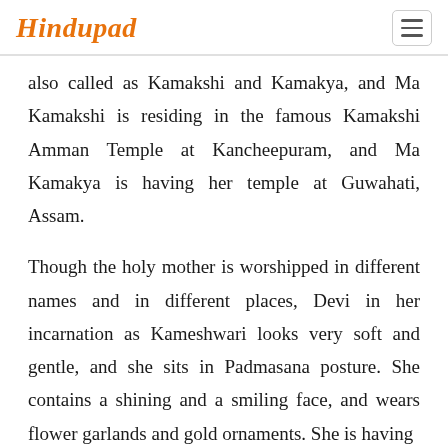Hindupad
also called as Kamakshi and Kamakya, and Ma Kamakshi is residing in the famous Kamakshi Amman Temple at Kancheepuram, and Ma Kamakya is having her temple at Guwahati, Assam.
Though the holy mother is worshipped in different names and in different places, Devi in her incarnation as Kameshwari looks very soft and gentle, and she sits in Padmasana posture. She contains a shining and a smiling face, and wears flower garlands and gold ornaments. She is having